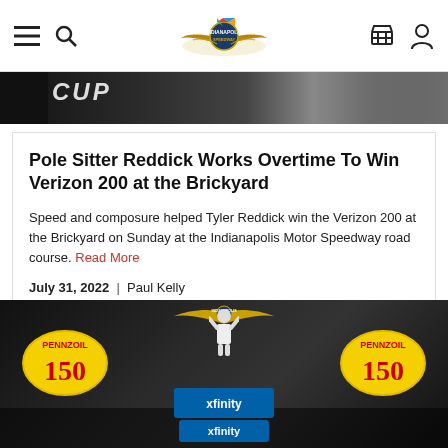Indianapolis Motor Speedway navigation bar with menu, search, logo, cart, and account icons
[Figure (photo): Dark banner image with 'CUP' text visible and a trophy in the background]
Pole Sitter Reddick Works Overtime To Win Verizon 200 at the Brickyard
Speed and composure helped Tyler Reddick win the Verizon 200 at the Brickyard on Sunday at the Indianapolis Motor Speedway road course. Read More
July 31, 2022  |  Paul Kelly
#TheBrickyard
[Figure (photo): Tyler Reddick celebrating victory in Winner's Circle at Indianapolis Motor Speedway with Pennzoil 150 and Xfinity branding visible, crowd in background]